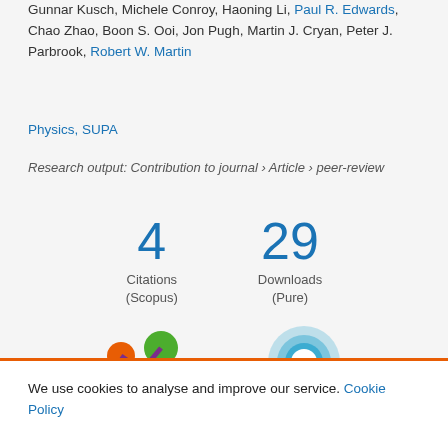Gunnar Kusch, Michele Conroy, Haoning Li, Paul R. Edwards, Chao Zhao, Boon S. Ooi, Jon Pugh, Martin J. Cryan, Peter J. Parbrook, Robert W. Martin
Physics, SUPA
Research output: Contribution to journal › Article › peer-review
4 Citations (Scopus)
29 Downloads (Pure)
[Figure (infographic): Altmetric score badge showing an orange, green, and purple splat/flower icon]
[Figure (infographic): Dimensions badge showing concentric blue circles with number 1 in center]
We use cookies to analyse and improve our service. Cookie Policy